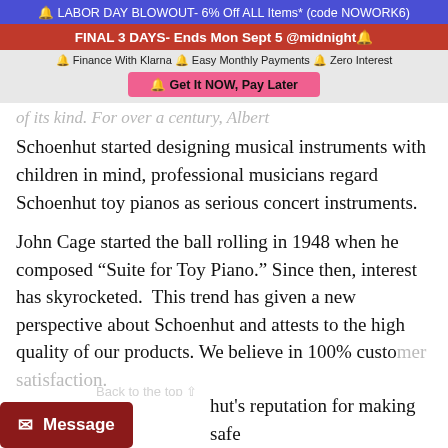🔔 LABOR DAY BLOWOUT- 6% Off ALL Items* (code NOWORK6)
FINAL 3 DAYS- Ends Mon Sept 5 @midnight🔔
🔔 Finance With Klarna 🔔 Easy Monthly Payments 🔔 Zero Interest
🔔 Get It NOW, Pay Later
of its kind. For over a century, Albert Schoenhut started designing musical instruments with children in mind, professional musicians regard Schoenhut toy pianos as serious concert instruments.
John Cage started the ball rolling in 1948 when he composed "Suite for Toy Piano." Since then, interest has skyrocketed.  This trend has given a new perspective about Schoenhut and attests to the high quality of our products. We believe in 100% customer satisfaction.
hut's reputation for making safe